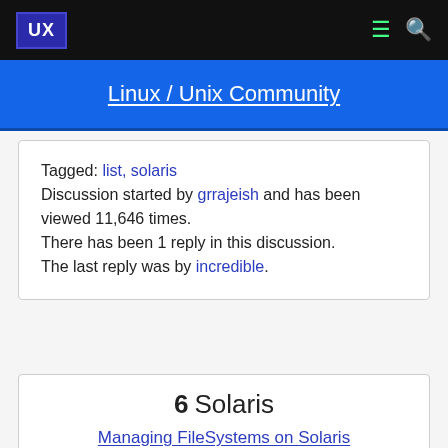UX [logo] [menu icon] [search icon]
Linux / Unix Community
Tagged: list, solaris
Discussion started by grrajeish and has been viewed 11,646 times.
There has been 1 reply in this discussion.
The last reply was by incredible.
6  Solaris
Managing FileSystems on Solaris
Hello, I have got Solaris 10.0/07 on x86...